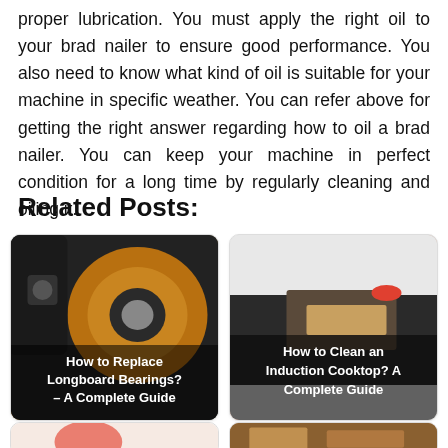proper lubrication. You must apply the right oil to your brad nailer to ensure good performance. You also need to know what kind of oil is suitable for your machine in specific weather. You can refer above for getting the right answer regarding how to oil a brad nailer. You can keep your machine in perfect condition for a long time by regularly cleaning and oiling it.
Related Posts:
[Figure (photo): Photo of longboard wheel/bearing with card label 'How to Replace Longboard Bearings? – A Complete Guide']
[Figure (photo): Photo of hand cleaning induction cooktop with card label 'How to Clean an Induction Cooktop? A Complete Guide']
[Figure (photo): Partial photo at bottom left, partially visible card]
[Figure (photo): Partial photo at bottom right, partially visible card]